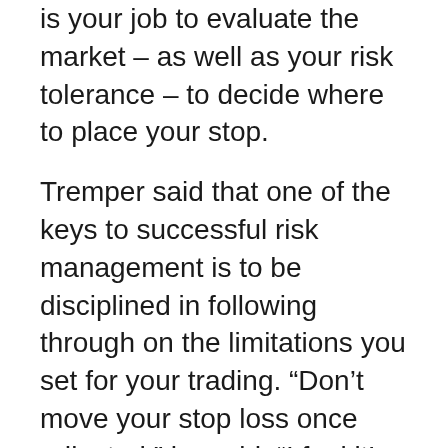is your job to evaluate the market – as well as your risk tolerance – to decide where to place your stop.
Tremper said that one of the keys to successful risk management is to be disciplined in following through on the limitations you set for your trading. “Don’t move your stop loss once adjusted,” he said. “I feel it’s better to get out and re-evaluate. If your rules still are met, re-enter. Otherwise, let it go.”
In this short clip, Tremper explains more about his perspective on stop loss